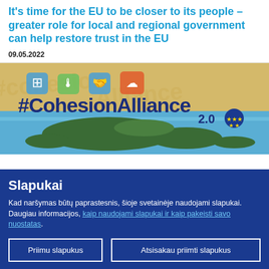It's time for the EU to be closer to its people – greater role for local and regional government can help restore trust in the EU
09.05.2022
[Figure (illustration): #CohesionAlliance 2.0 banner with icons (puzzle piece, thermometer with leaf, handshake, cloud upload) over aerial photo of forested islands and blue water, with EU flag logo]
Slapukai
Kad naršymas būtų paprastesnis, šioje svetainėje naudojami slapukai. Daugiau informacijos, kaip naudojami slapukai ir kaip pakeisti savo nuostatas.
Priimu slapukus
Atsisakau priimti slapukus